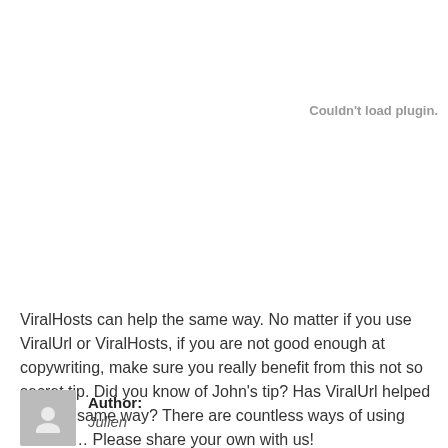Couldn't load plugin.
ViralHosts can help the same way. No matter if you use ViralUrl or ViralHosts, if you are not good enough at copywriting, make sure you really benefit from this not so secret tip. Did you know of John's tip? Has ViralUrl helped you the same way? There are countless ways of using ViralUrl… Please share your own with us!
Author: Julien